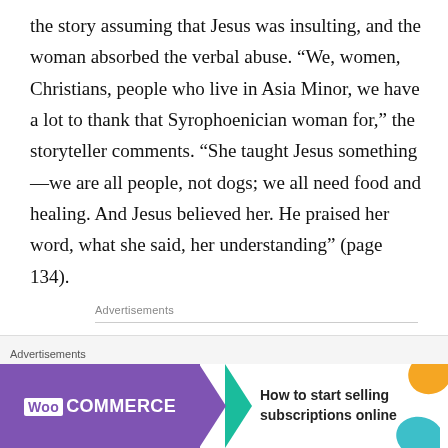the story assuming that Jesus was insulting, and the woman absorbed the verbal abuse. “We, women, Christians, people who live in Asia Minor, we have a lot to thank that Syrophoenician woman for,” the storyteller comments. “She taught Jesus something—we are all people, not dogs; we all need food and healing. And Jesus believed her. He praised her word, what she said, her understanding” (page 134).
Advertisements
[Figure (logo): Automattic logo in bold uppercase letters with a circled arrow symbol replacing the 'o' in Automattic]
[Figure (screenshot): WooCommerce advertisement banner: purple background with WooCommerce logo and teal arrow, text reads 'How to start selling subscriptions online']